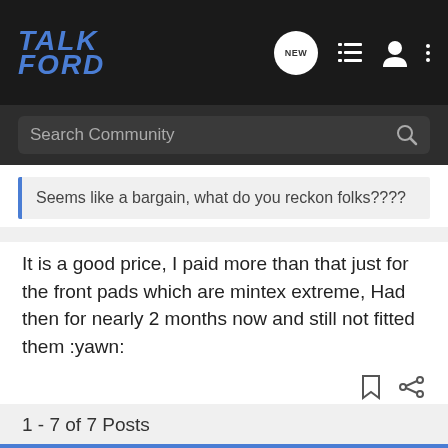TalkFord
Seems like a bargain, what do you reckon folks????
It is a good price, I paid more than that just for the front pads which are mintex extreme, Had then for nearly 2 months now and still not fitted them :yawn:
1997 V70R FWD Manual
608 map & Modded ECU with Moates Ostrich & COP
1 - 7 of 7 Posts